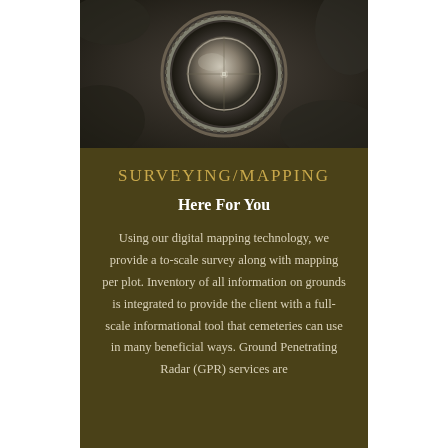[Figure (photo): Black and white close-up photo of an ornate compass or surveying instrument with decorative metalwork and foliage in the background.]
SURVEYING/MAPPING
Here For You
Using our digital mapping technology, we provide a to-scale survey along with mapping per plot. Inventory of all information on grounds is integrated to provide the client with a full-scale informational tool that cemeteries can use in many beneficial ways. Ground Penetrating Radar (GPR) services are